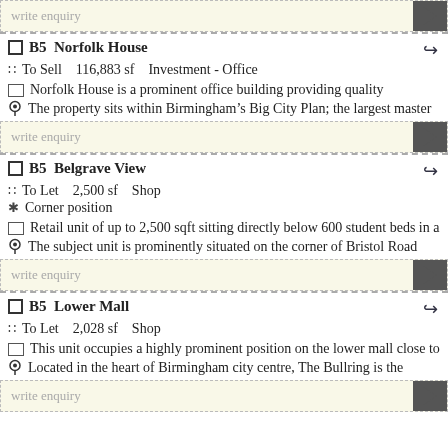write enquiry
B5 Norfolk House — To Sell  116,883 sf  Investment - Office
Norfolk House is a prominent office building providing quality
The property sits within Birmingham’s Big City Plan; the largest master
write enquiry
B5 Belgrave View — To Let  2,500 sf  Shop
Corner position
Retail unit of up to 2,500 sqft sitting directly below 600 student beds in a
The subject unit is prominently situated on the corner of Bristol Road
write enquiry
B5 Lower Mall — To Let  2,028 sf  Shop
This unit occupies a highly prominent position on the lower mall close to
Located in the heart of Birmingham city centre, The Bullring is the
write enquiry